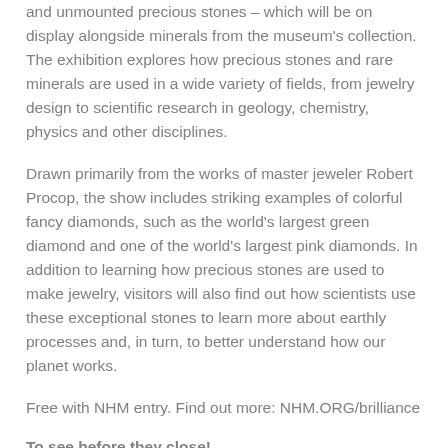and unmounted precious stones – which will be on display alongside minerals from the museum's collection. The exhibition explores how precious stones and rare minerals are used in a wide variety of fields, from jewelry design to scientific research in geology, chemistry, physics and other disciplines.
Drawn primarily from the works of master jeweler Robert Procop, the show includes striking examples of colorful fancy diamonds, such as the world's largest green diamond and one of the world's largest pink diamonds. In addition to learning how precious stones are used to make jewelry, visitors will also find out how scientists use these exceptional stones to learn more about earthly processes and, in turn, to better understand how our planet works.
Free with NHM entry. Find out more: NHM.ORG/brilliance
To see before they close!
3D Antarctic Dinosaurs